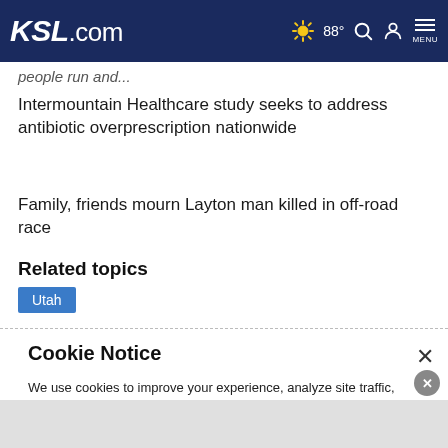KSL.com 88° MENU
people run and...
Intermountain Healthcare study seeks to address antibiotic overprescription nationwide
Family, friends mourn Layton man killed in off-road race
Related topics
Utah
Cookie Notice
We use cookies to improve your experience, analyze site traffic, and to personalize content and ads. By continuing to use our site, you consent to our use of cookies. Please visit our Terms of Use and Privacy Policy for more information